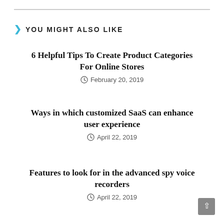YOU MIGHT ALSO LIKE
6 Helpful Tips To Create Product Categories For Online Stores
February 20, 2019
Ways in which customized SaaS can enhance user experience
April 22, 2019
Features to look for in the advanced spy voice recorders
April 22, 2019